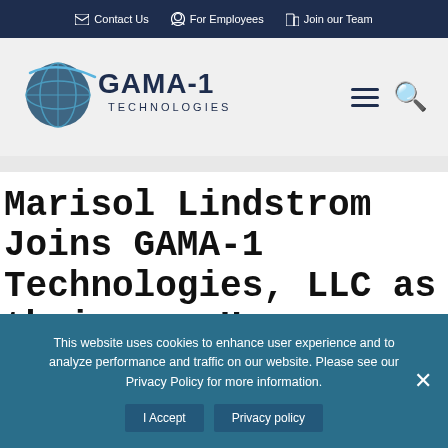Contact Us   For Employees   Join our Team
[Figure (logo): GAMA-1 Technologies logo with globe graphic and company name]
Marisol Lindstrom Joins GAMA-1 Technologies, LLC as their new Human Resources Director
This website uses cookies to enhance user experience and to analyze performance and traffic on our website. Please see our Privacy Policy for more information.